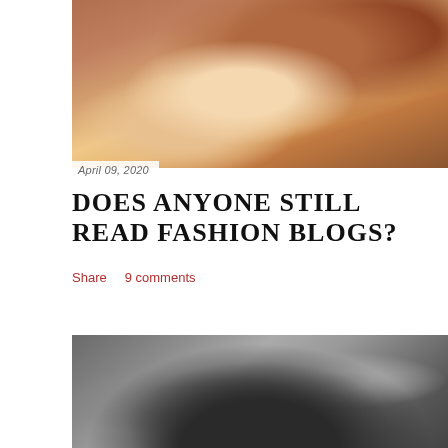[Figure (photo): Close-up photo of a person writing in a notebook with a pencil, warm brown tones, hands visible with red nail polish]
April 09, 2020
DOES ANYONE STILL READ FASHION BLOGS?
Share    9 comments
[Figure (photo): Person in dark clothing looking downward against a textured grey concrete wall background]